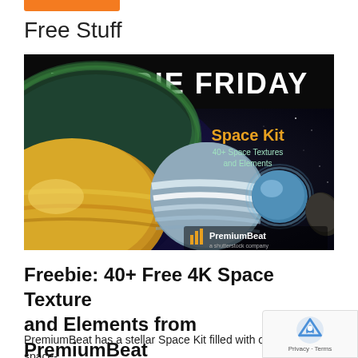Free Stuff
[Figure (photo): Freebie Friday banner with space-themed imagery showing planets and stars, with text 'FREEBIE FRIDAY', 'Space Kit', '40+ Space Textures and Elements', and PremiumBeat logo]
Freebie: 40+ Free 4K Space Textures and Elements from PremiumBeat
PremiumBeat has a stellar Space Kit filled with over 40 space-